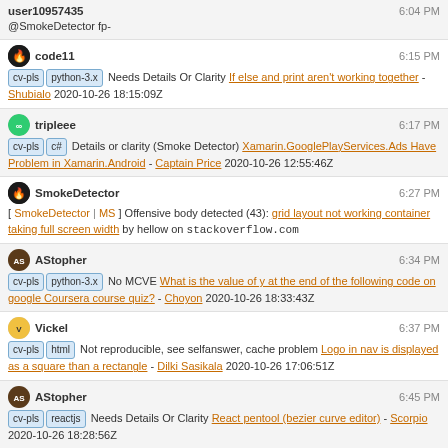user10957435  6:04 PM
@SmokeDetector fp-
code11  6:15 PM
cv-pls python-3.x Needs Details Or Clarity If else and print aren't working together - Shubialo 2020-10-26 18:15:09Z
tripleee  6:17 PM
cv-pls c# Details or clarity (Smoke Detector) Xamarin.GooglePlayServices.Ads Have Problem in Xamarin.Android - Captain Price 2020-10-26 12:55:46Z
SmokeDetector  6:27 PM
[ SmokeDetector | MS ] Offensive body detected (43): grid layout not working container taking full screen width by hellow on stackoverflow.com
AStopher  6:34 PM
cv-pls python-3.x No MCVE What is the value of y at the end of the following code on google Coursera course quiz? - Choyon 2020-10-26 18:33:43Z
Vickel  6:37 PM
cv-pls html Not reproducible, see selfanswer, cache problem Logo in nav is displayed as a square than a rectangle - Dilki Sasikala 2020-10-26 17:06:51Z
AStopher  6:45 PM
cv-pls reactjs Needs Details Or Clarity React pentool (bezier curve editor) - Scorpio 2020-10-26 18:28:56Z
tink  6:48 PM
cv-pls linux Belongs on another site Postgres: Why is my delete query using up all